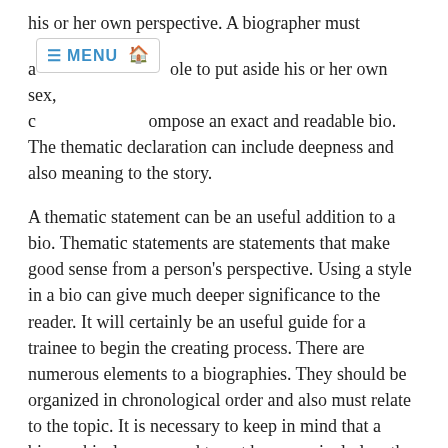his or her own perspective. A biographer must additionally be able to put aside his or her own sex, culture, and compose an exact and readable bio. The thematic declaration can include deepness and also meaning to the story.
A thematic statement can be an useful addition to a bio. Thematic statements are statements that make good sense from a person's perspective. Using a style in a bio can give much deeper significance to the reader. It will certainly be an useful guide for a trainee to begin the creating process. There are numerous elements to a biographies. They should be organized in chronological order and also must relate to the topic. It is necessary to keep in mind that a biographical essay need to not be excessively lengthy, yet that it must be insightful and fascinating.
A biographer ought to consist of the subject's life. The bio must include info on the subject's youth and